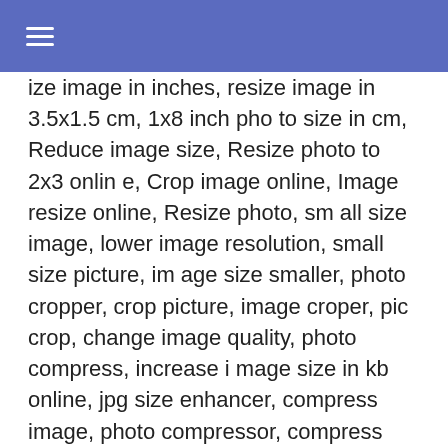☰
ize image in inches, resize image in 3.5x1.5 cm, 1x8 inch photo to size in cm, Reduce image size, Resize photo to 2x3 online, Crop image online, Image resize online, Resize photo, small size image, lower image resolution, small size picture, image size smaller, photo cropper, crop picture, image croper, pic crop, change image quality, photo compress, increase image size in kb online, jpg size enhancer, compress image, photo compressor, compress images, online photo compressor, size reducer, crop photo online, convert photo size, jpg size converter, jpeg compressor, resize image without losing quality, compressimage, optimize image online, image size increase, reduce pixel size, image size increaser, jpg size increase online, image compress, how to compress image size, image size cahnger, resizeimage 3x4 online, Online photo resizer, Resize image, resize image, image resizer, resize image online, online image resizer, image resize, photo resizer, pic resize, image resizer online, reduce image size, image size reducer, image compressor, compress jpeg, image size converter, PicResize, Online image resizer, Web Resizer